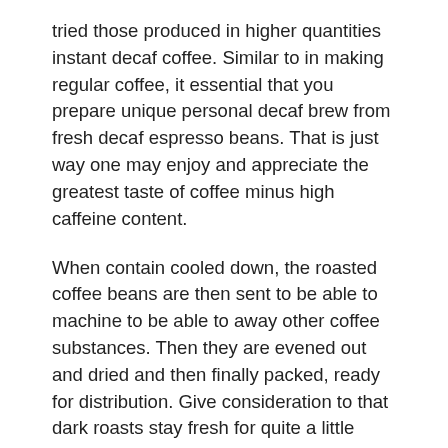tried those produced in higher quantities instant decaf coffee. Similar to in making regular coffee, it essential that you prepare unique personal decaf brew from fresh decaf espresso beans. That is just way one may enjoy and appreciate the greatest taste of coffee minus high caffeine content.
When contain cooled down, the roasted coffee beans are then sent to be able to machine to be able to away other coffee substances. Then they are evened out and dried and then finally packed, ready for distribution. Give consideration to that dark roasts stay fresh for quite a little while however light and medium roasts shed their flavor within a short time. To enjoy your roasted coffee beans, consume them inside week. There isn't a single roast that is the best for coffee cocoa beans.